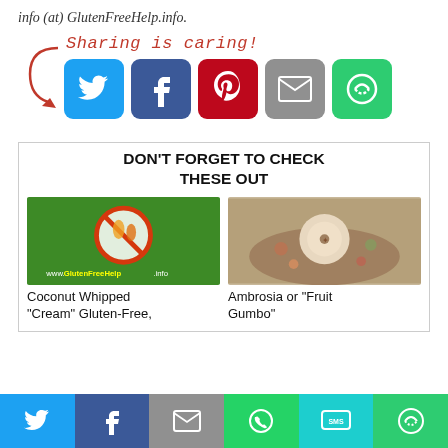info (at) GlutenFreeHelp.info.
[Figure (infographic): Sharing is caring callout with red arrow and five social media share buttons: Twitter (blue), Facebook (dark blue), Pinterest (red), Email (gray), Share (green)]
DON'T FORGET TO CHECK THESE OUT
[Figure (photo): Green background with gluten-free logo (crossed out wheat) and www.GlutenFreeHelp.info URL]
Coconut Whipped "Cream" Gluten-Free,
[Figure (photo): Overhead photo of fruit salad with apple slice in a bowl]
Ambrosia or "Fruit Gumbo"
[Figure (infographic): Bottom social share bar with Twitter, Facebook, Email, WhatsApp, SMS, and Share icons]